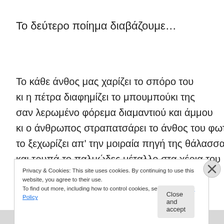Το δεύτερο ποίημα διαβάζουμε…
Το κάθε άνθος μας χαρίζει το σπόρο του
κι η πέτρα διαφημίζει το μπουμπούκι της
σαν λερωμένο φόρεμα διαμαντιού και άμμου
κι ο άνθρωπος στραπατσάρει το άνθος του φωτός
το ξεχωρίζει απ' την μοιραία πηγή της θάλασσας
και τρυπά το παλμώδες μέταλλο στα χέρια του
Privacy & Cookies: This site uses cookies. By continuing to use this website, you agree to their use.
To find out more, including how to control cookies, see here: Cookie Policy